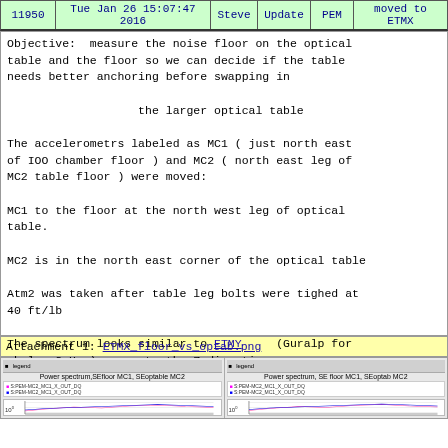| 11950 | Tue Jan 26 15:07:47 2016 | Steve | Update | PEM | moved to ETMX |
| --- | --- | --- | --- | --- | --- |
Objective:  measure the noise floor on the optical table and the floor so we can decide if the table needs better anchoring before swapping in

                   the larger optical table

The accelerometrs labeled as MC1 ( just north east of IOO chamber floor ) and MC2 ( north east leg of MC2 table floor ) were moved:

MC1 to the floor at the north west leg of optical table.

MC2 is in the north east corner of the optical table

Atm2 was taken after table leg bolts were tighed at 40 ft/lb

The spectrum looks similar to ETMY      (Guralp for  below 3 Hz )  except  the Z direction

.   ETMY
Attachment 1: ETMX_floor_vs_optab.png
[Figure (screenshot): Two side-by-side screenshots of power spectrum plots labeled 'Power spectrum,SEfloor MC1, SEoptable MC2' showing spectral data with frequency on x-axis and amplitude on y-axis, with legend entries for different measurement channels]